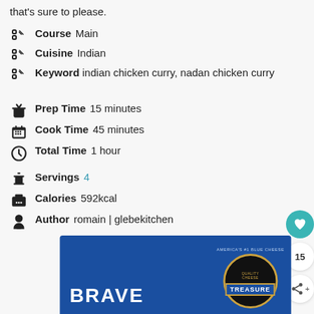that's sure to please.
Course  Main
Cuisine  Indian
Keyword  indian chicken curry, nadan chicken curry
Prep Time  15 minutes
Cook Time  45 minutes
Total Time  1 hour
Servings  4
Calories  592kcal
Author  romain | glebekitchen
[Figure (photo): Advertisement image for Brave/Treasure blue cheese product with blue background, cheese container, and bold text]